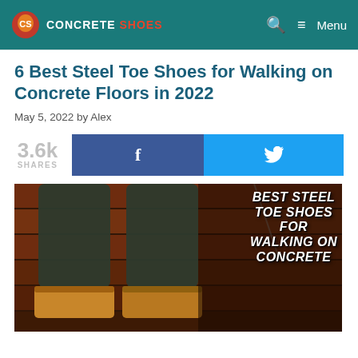CONCRETE SHOES — Menu
6 Best Steel Toe Shoes for Walking on Concrete Floors in 2022
May 5, 2022 by Alex
3.6k SHARES
[Figure (photo): Person wearing steel toe shoes standing on concrete/brick steps, with text overlay reading BEST STEEL TOE SHOES FOR WALKING ON CONCRETE]